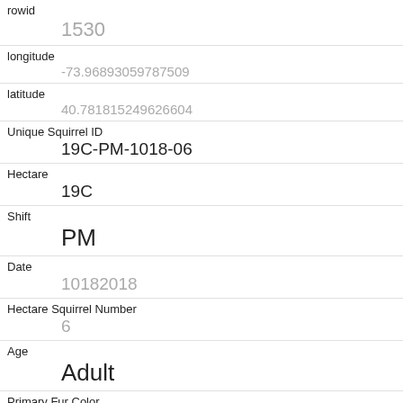| Field | Value |
| --- | --- |
| rowid | 1530 |
| longitude | -73.96893059787509 |
| latitude | 40.781815249626604 |
| Unique Squirrel ID | 19C-PM-1018-06 |
| Hectare | 19C |
| Shift | PM |
| Date | 10182018 |
| Hectare Squirrel Number | 6 |
| Age | Adult |
| Primary Fur Color | Gray |
| Highlight Fur Color |  |